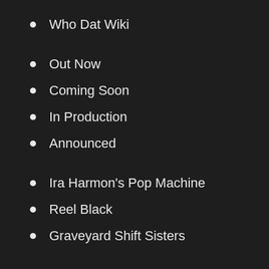Who Dat Wiki
Out Now
Coming Soon
In Production
Announced
Ira Harmon's Pop Machine
Reel Black
Graveyard Shift Sisters